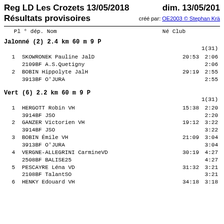Reg LD Les Crozets 13/05/2018   dim. 13/05/2018
Résultats provisoires   créé par: OE2003 © Stephan Krä
Pl ° dép. Nom   Né Club
Jalonné (2) 2.4 km 60 m 9 P
1(31)
1   SKOWRONEK Pauline JalD   20:53   2:06
    2109BF A.S.Quetigny         2:06
2   BOBIN Hippolyte JalH   29:19   2:55
    3913BF O'JURA               2:55
Vert (6) 2.2 km 60 m 9 P
1(31)
1   HERGOTT Robin VH   15:38   2:20
    3914BF JSO                  2:20
2   GANZER Victorien VH   19:12   3:22
    3914BF JSO                  3:22
3   BOBIN Émile VH   21:09   3:04
    3913BF O'JURA               3:04
4   VERGNE-ALLEGRINI CarmineVD   30:19   4:27
    2508BF BALISE25              4:27
5   PESCAYRE Léna VD   31:32   3:21
    2108BF TalantSO              3:21
6   HENKY Edouard VH   34:18   3:18